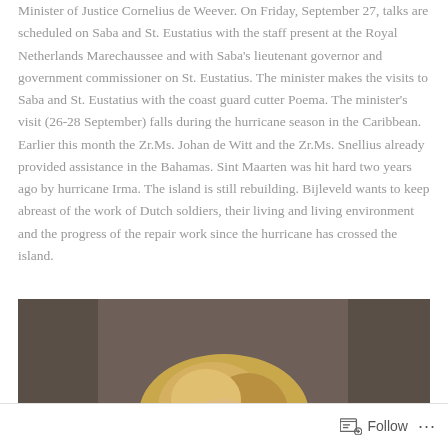Minister of Justice Cornelius de Weever. On Friday, September 27, talks are scheduled on Saba and St. Eustatius with the staff present at the Royal Netherlands Marechaussee and with Saba's lieutenant governor and government commissioner on St. Eustatius. The minister makes the visits to Saba and St. Eustatius with the coast guard cutter Poema. The minister's visit (26-28 September) falls during the hurricane season in the Caribbean. Earlier this month the Zr.Ms. Johan de Witt and the Zr.Ms. Snellius already provided assistance in the Bahamas. Sint Maarten was hit hard two years ago by hurricane Irma. The island is still rebuilding. Bijleveld wants to keep abreast of the work of Dutch soldiers, their living and living environment and the progress of the repair work since the hurricane has crossed the island.
[Figure (photo): Partial photo of a person with blonde hair against a dark/brown background, cropped to show mostly the top of the head]
Follow ...